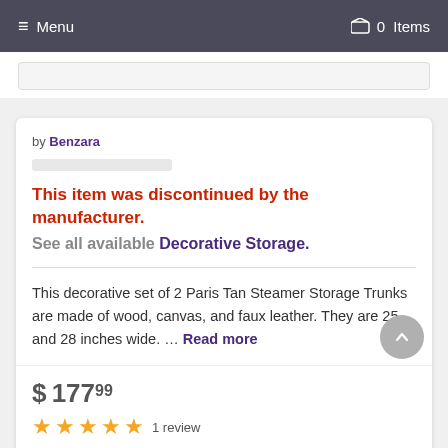☰ Menu   🛒 0 Items
by Benzara
This item was discontinued by the manufacturer.
See all available Decorative Storage.
This decorative set of 2 Paris Tan Steamer Storage Trunks are made of wood, canvas, and faux leather. They are 25 and 28 inches wide. ... Read more
$ 17799
★★★★★ 1 review